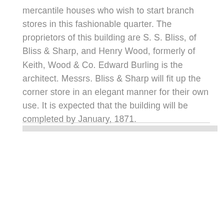mercantile houses who wish to start branch stores in this fashionable quarter. The proprietors of this building are S. S. Bliss, of Bliss & Sharp, and Henry Wood, formerly of Keith, Wood & Co. Edward Burling is the architect. Messrs. Bliss & Sharp will fit up the corner store in an elegant manner for their own use. It is expected that the building will be completed by January, 1871.